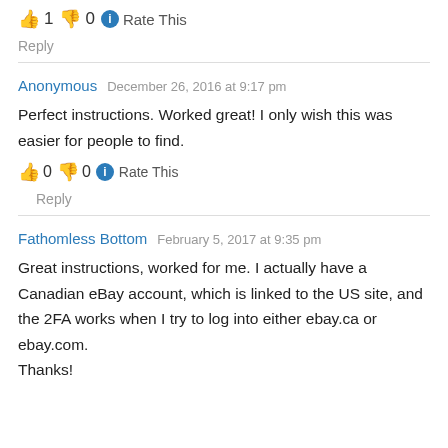👍 1 👎 0 🔵 Rate This
Reply
Anonymous   December 26, 2016 at 9:17 pm
Perfect instructions. Worked great! I only wish this was easier for people to find.
👍 0 👎 0 🔵 Rate This
Reply
Fathomless Bottom   February 5, 2017 at 9:35 pm
Great instructions, worked for me. I actually have a Canadian eBay account, which is linked to the US site, and the 2FA works when I try to log into either ebay.ca or ebay.com. Thanks!